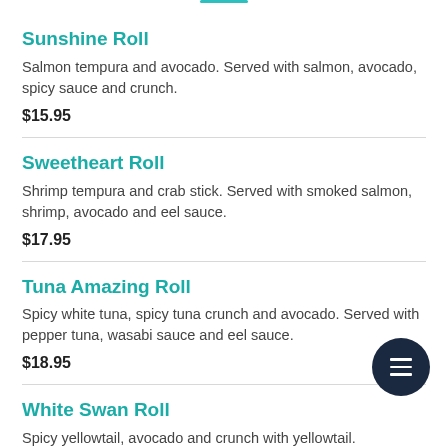Sunshine Roll
Salmon tempura and avocado. Served with salmon, avocado, spicy sauce and crunch.
$15.95
Sweetheart Roll
Shrimp tempura and crab stick. Served with smoked salmon, shrimp, avocado and eel sauce.
$17.95
Tuna Amazing Roll
Spicy white tuna, spicy tuna crunch and avocado. Served with pepper tuna, wasabi sauce and eel sauce.
$18.95
White Swan Roll
Spicy yellowtail, avocado and crunch with yellowtail.